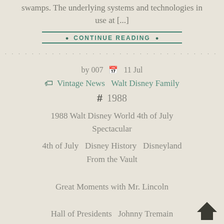swamps. The underlying systems and technologies in use at [...]
CONTINUE READING
by 007  11 Jul
Vintage News  Walt Disney Family
# 1988
1988 Walt Disney World 4th of July Spectacular
4th of July  Disney History  Disneyland  From the Vault
Great Moments with Mr. Lincoln
Hall of Presidents  Johnny Tremain
Liberty Square  Liberty Street  Maelstrom